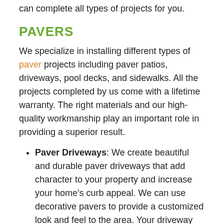can complete all types of projects for you.
PAVERS
We specialize in installing different types of paver projects including paver patios, driveways, pool decks, and sidewalks. All the projects completed by us come with a lifetime warranty. The right materials and our high-quality workmanship play an important role in providing a superior result.
Paver Driveways: We create beautiful and durable paver driveways that add character to your property and increase your home's curb appeal. We can use decorative pavers to provide a customized look and feel to the area. Your driveway can also be matched with your patio and pathways.
Paver Pathways & Walkways: Paver pathways are widely popular, and we can help you create a custom look for your yard. The patterns on pavers can provide